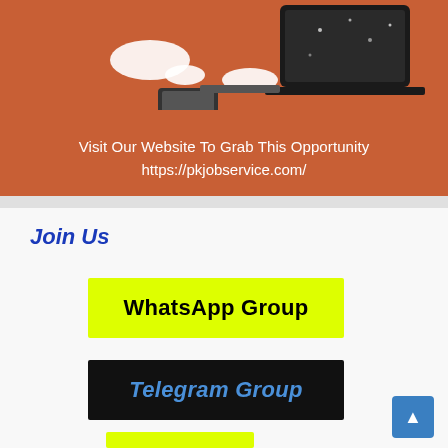[Figure (illustration): Orange/terracotta background banner showing a person's hands working on a laptop with a phone nearby. Below the illustration are two lines of white text.]
Visit Our Website To Grab This Opportunity
https://pkjobservice.com/
Join Us
WhatsApp Group
Telegram Group